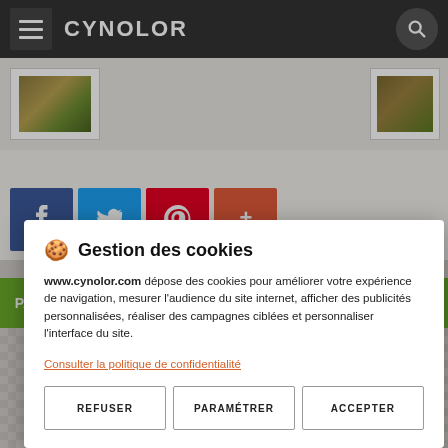CYNOLOR
[Figure (screenshot): Social media share buttons: Facebook (blue), Twitter (light blue), Pinterest (red), More (orange-red)]
www.cynolor.com dépose des cookies pour améliorer votre expérience de navigation, mesurer l'audience du site internet, afficher des publicités personnalisées, réaliser des campagnes ciblées et personnaliser l'interface du site.
Consulter la politique de confidentialité
REFUSER  PARAMÉTRER  ACCEPTER